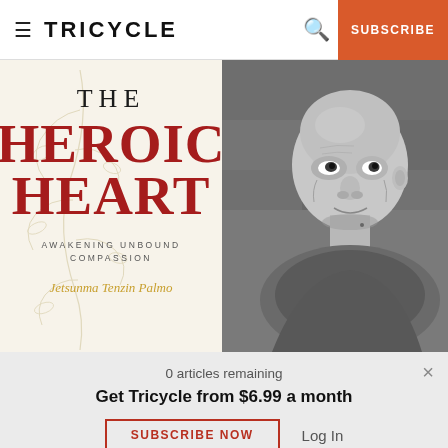TRICYCLE  SUBSCRIBE
[Figure (illustration): Book cover for 'The Heroic Heart: Awakening Unbound Compassion' by Jetsunma Tenzin Palmo, cream/beige background with decorative botanical line art and red title text]
[Figure (photo): Black and white portrait photograph of an elderly woman with a shaved head, smiling slightly, looking upward, with textured stone wall background]
0 articles remaining
Get Tricycle from $6.99 a month
SUBSCRIBE NOW
Log In